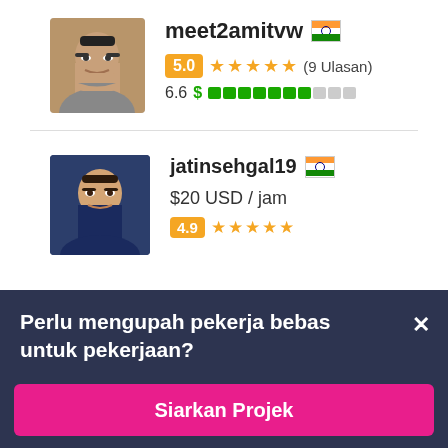[Figure (photo): Profile photo of meet2amitvw, a person with glasses and beard]
meet2amitvw 🇮🇳
5.0 ★★★★★ (9 Ulasan)
6.6 $ ▓▓▓▓▓▓▓░░░
[Figure (photo): Profile photo of jatinsehgal19, a young man in dark shirt]
jatinsehgal19 🇮🇳
$20 USD / jam
Perlu mengupah pekerja bebas untuk pekerjaan?
Siarkan Projek